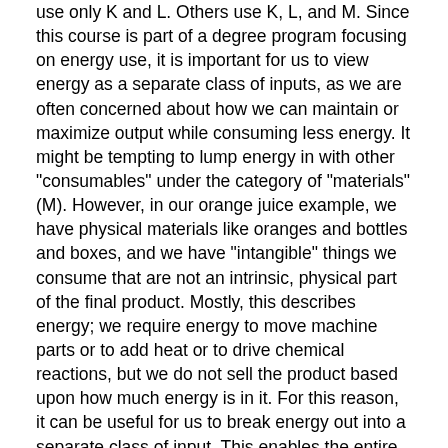use only K and L. Others use K, L, and M. Since this course is part of a degree program focusing on energy use, it is important for us to view energy as a separate class of inputs, as we are often concerned about how we can maintain or maximize output while consuming less energy. It might be tempting to lump energy in with other "consumables" under the category of "materials" (M). However, in our orange juice example, we have physical materials like oranges and bottles and boxes, and we have "intangible" things we consume that are not an intrinsic, physical part of the final product. Mostly, this describes energy; we require energy to move machine parts or to add heat or to drive chemical reactions, but we do not sell the product based upon how much energy is in it. For this reason, it can be useful for us to break energy out into a separate class of input. This enables the entire field of "energy efficiency."
The relationship between the input and the outputs is called a “Production Function.” Written in math terms, the production function is:
The inputs K, L, E, and M are called “factors of production.” The production function tells us the maximum